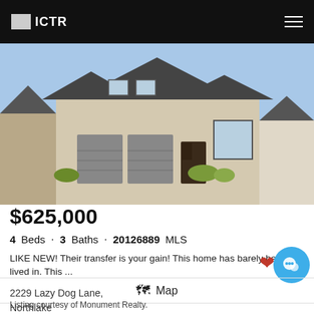ICTR
[Figure (photo): Exterior photo of a large modern stone and brick home with dark gray roof, three garage doors, green lawn, and clear blue sky]
$625,000
4 Beds · 3 Baths · 20126889 MLS
LIKE NEW! Their transfer is your gain! This home has barely been lived in. This ...
2229 Lazy Dog Lane,
Northlake
Map
Listing courtesy of Monument Realty.